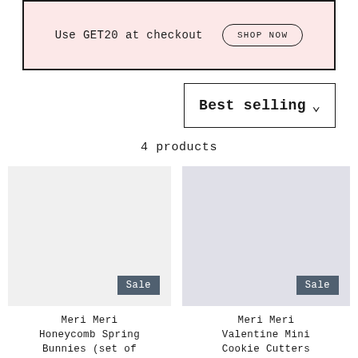Use GET20 at checkout   SHOP NOW
Best selling
4 products
[Figure (screenshot): Product image placeholder with Sale badge - left product]
[Figure (screenshot): Product image placeholder with Sale badge - right product]
Meri Meri Honeycomb Spring Bunnies (set of
Meri Meri Valentine Mini Cookie Cutters